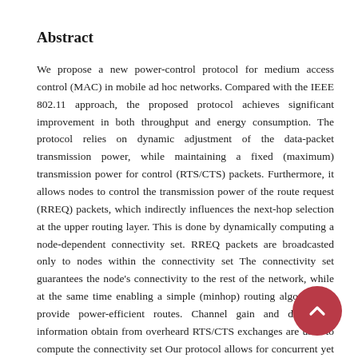Abstract
We propose a new power-control protocol for medium access control (MAC) in mobile ad hoc networks. Compared with the IEEE 802.11 approach, the proposed protocol achieves significant improvement in both throughput and energy consumption. The protocol relies on dynamic adjustment of the data-packet transmission power, while maintaining a fixed (maximum) transmission power for control (RTS/CTS) packets. Furthermore, it allows nodes to control the transmission power of the route request (RREQ) packets, which indirectly influences the next-hop selection at the upper routing layer. This is done by dynamically computing a node-dependent connectivity set. RREQ packets are broadcasted only to nodes within the connectivity set The connectivity set guarantees the node's connectivity to the rest of the network, while at the same time enabling a simple (minhop) routing algorithm to provide power-efficient routes. Channel gain and directional information obtain from overheard RTS/CTS exchanges are used to compute the connectivity set Our protocol allows for concurrent yet interference-limited transmissions to take place in the vicinity of